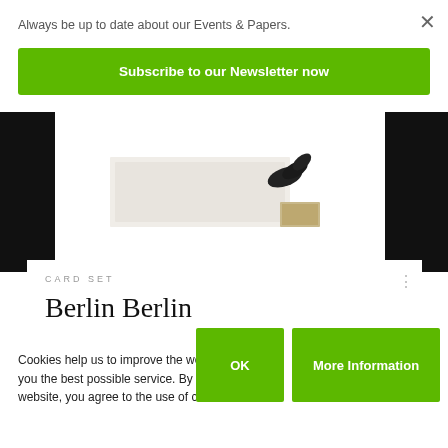Always be up to date about our Events & Papers.
Subscribe to our Newsletter now
[Figure (photo): Black and white photo of hands holding a book or card set, displayed on a dark background]
CARD SET
Berlin Berlin
Cookies help us to improve the website and offer you the best possible service. By using this website, you agree to the use of cookies.
OK
More Information